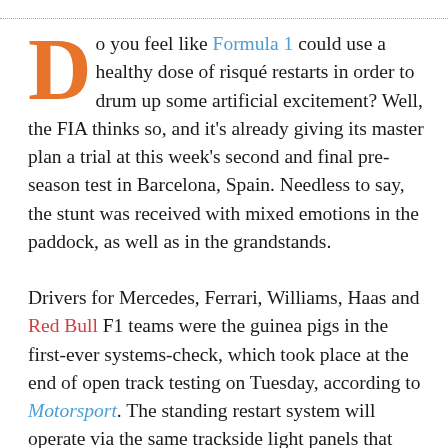Do you feel like Formula 1 could use a healthy dose of risqué restarts in order to drum up some artificial excitement? Well, the FIA thinks so, and it's already giving its master plan a trial at this week's second and final pre-season test in Barcelona, Spain. Needless to say, the stunt was received with mixed emotions in the paddock, as well as in the grandstands.
Drivers for Mercedes, Ferrari, Williams, Haas and Red Bull F1 teams were the guinea pigs in the first-ever systems-check, which took place at the end of open track testing on Tuesday, according to Motorsport. The standing restart system will operate via the same trackside light panels that currently announce the presence of a safety car (SC) or virtual safety car (SFC) to the drivers, but they will display standing restart (SS) or rolling restart (RS) instead. Drivers will